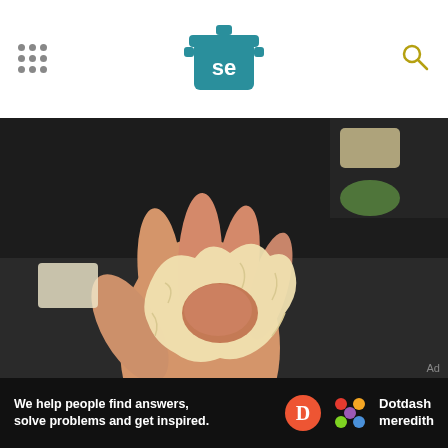Serious Eats logo and navigation
[Figure (photo): A hand holding a wonton wrapper folded around a ball of meat filling, forming a wrinkled cup shape. Background shows a dark surface with other food preparation items.]
Now bring the remaining two corners together and squeeze once more to form a little wrinkled cup around the filling.
[Figure (infographic): Advertisement bar: 'We help people find answers, solve problems and get inspired.' with Dotdash Meredith logo.]